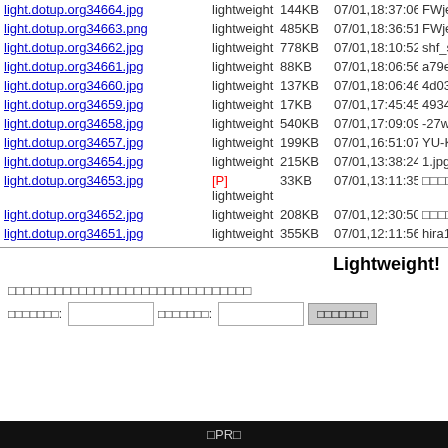| Filename | Type | Size | Date | User |
| --- | --- | --- | --- | --- |
| light.dotup.org34664.jpg | lightweight | 144KB | 07/01,18:37:06 | FWje |
| light.dotup.org34663.png | lightweight | 485KB | 07/01,18:36:51 | FWjel |
| light.dotup.org34662.jpg | lightweight | 778KB | 07/01,18:10:52 | shf_sp |
| light.dotup.org34661.jpg | lightweight | 88KB | 07/01,18:06:56 | a79ec |
| light.dotup.org34660.jpg | lightweight | 137KB | 07/01,18:06:46 | 4d03f |
| light.dotup.org34659.jpg | lightweight | 17KB | 07/01,17:45:45 | 49340 |
| light.dotup.org34658.jpg | lightweight | 540KB | 07/01,17:09:09 | -27wg |
| light.dotup.org34657.jpg | lightweight | 199KB | 07/01,16:51:07 | YU-KCGK |
| light.dotup.org34654.jpg | lightweight | 215KB | 07/01,13:38:24 | 1.jpg |
| light.dotup.org34653.jpg | [P] lightweight | 33KB | 07/01,13:11:35 | □□□□□. |
| light.dotup.org34652.jpg | lightweight | 208KB | 07/01,12:30:50 | □□□□□□ |
| light.dotup.org34651.jpg | lightweight | 355KB | 07/01,12:11:56 | hira11 |
Lightweight!
□□□□□□□□□□□□□□□□□□□□□□□□□□□□□□□
□□□□□□□: [input] □□□□□□□: [input] [button]
□PR□